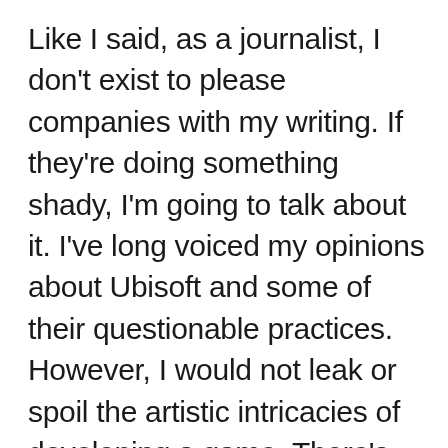Like I said, as a journalist, I don't exist to please companies with my writing. If they're doing something shady, I'm going to talk about it. I've long voiced my opinions about Ubisoft and some of their questionable practices. However, I would not leak or spoil the artistic intricacies of developing a game. There's nothing heroic about leaking development secrets when that's all they are: secrets about what's going into a game, not the conditions in which that game is being created. There's no